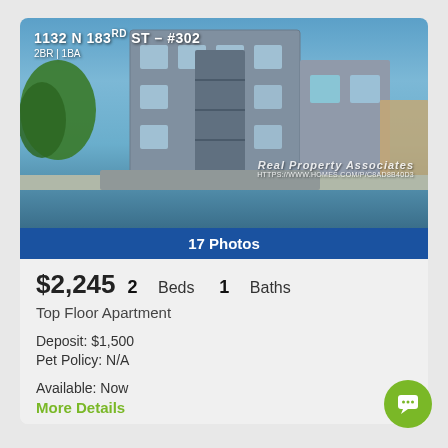[Figure (photo): Exterior photo of a modern 3-story apartment building at 1132 N 183rd St #302, with blue sky, green trees, and a neighboring house. Watermark: Real Property Associates.]
17 Photos
$2,245   2 Beds   1 Baths
Top Floor Apartment
Deposit: $1,500
Pet Policy: N/A
Available: Now
More Details
1132 N 183rd St #302